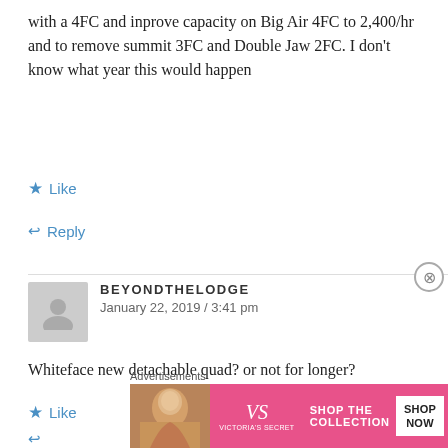with a 4FC and inprove capacity on Big Air 4FC to 2,400/hr and to remove summit 3FC and Double Jaw 2FC. I don't know what year this would happen
Like
Reply
BEYONDTHELODGE
January 22, 2019 / 3:41 pm
Whiteface new detachable quad? or not for longer?
Like
[Figure (screenshot): Victoria's Secret advertisement banner showing a model, VS logo, 'SHOP THE COLLECTION' text, and 'SHOP NOW' button on pink background]